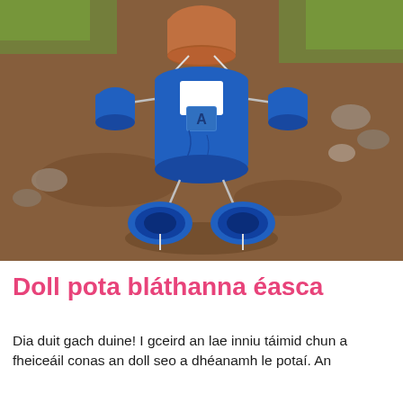[Figure (photo): A handmade doll figure assembled from blue-painted terracotta flower pots arranged to resemble a person — a larger pot forms the body decorated with a white collar/pocket and a blue patch with a letter 'A', smaller pots serve as arms and legs, and a terracotta pot at the top acts as the head. The doll sits on brown dirt/soil ground outdoors with grass and rocks visible in the background.]
Doll pota bláthanna éasca
Dia duit gach duine! I gceird an lae inniu táimid chun a fheiceáil conas an doll seo a dhéanamh le potaí. An